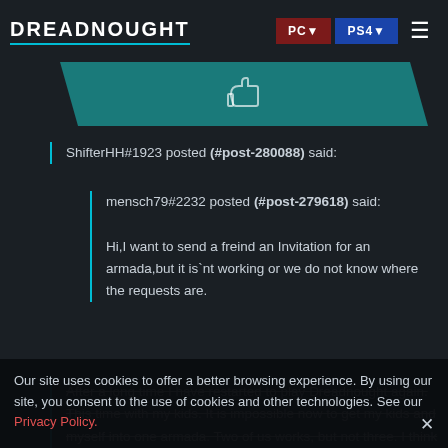DREADNOUGHT | PC | PS4
ShifterHH#1923 posted (#post-280088) said:
mensch79#2232 posted (#post-279618) said:

Hi,I want to send a freind an Invitation for an armada,but it is`nt working or we do not know where the requests are.
After a long time I have restarted to play Dreadnought again. This time with my kids. It is impossible now to get my kids and myself into one armada. Two of us works, but not three. I think it could be a problem that we are behind the same (nat router (fritzbox). Could anoone
Our site uses cookies to offer a better browsing experience. By using our site, you consent to the use of cookies and other technologies. See our Privacy Policy.